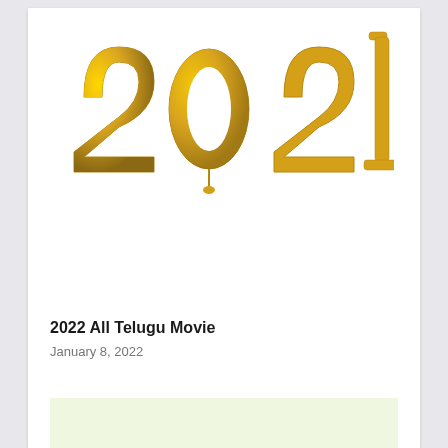[Figure (photo): Gold metallic balloon numbers spelling '2021' on a white background]
2022 All Telugu Movie
January 8, 2022
[Figure (other): Light yellow-green advertisement block]